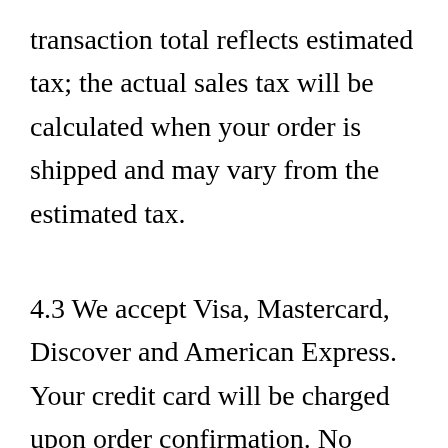transaction total reflects estimated tax; the actual sales tax will be calculated when your order is shipped and may vary from the estimated tax.
4.3 We accept Visa, Mastercard, Discover and American Express. Your credit card will be charged upon order confirmation. No C.O.D orders can be accepted.
4.4 Every effort has been made on this Website to ensure that shopping online is safe